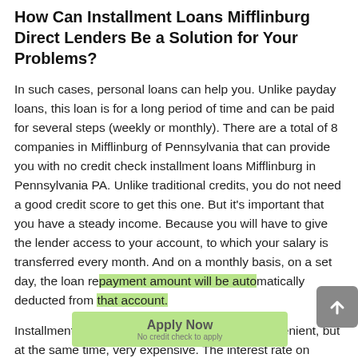How Can Installment Loans Mifflinburg Direct Lenders Be a Solution for Your Problems?
In such cases, personal loans can help you. Unlike payday loans, this loan is for a long period of time and can be paid for several steps (weekly or monthly). There are a total of 8 companies in Mifflinburg of Pennsylvania that can provide you with no credit check installment loans Mifflinburg in Pennsylvania PA. Unlike traditional credits, you do not need a good credit score to get this one. But it's important that you have a steady income. Because you will have to give the lender access to your account, to which your salary is transferred every month. And on a monthly basis, on a set day, the loan repayment amount will be automatically deducted from that account.
Installment loans Mifflinburg online are very convenient, but at the same time, very expensive. The interest rate on